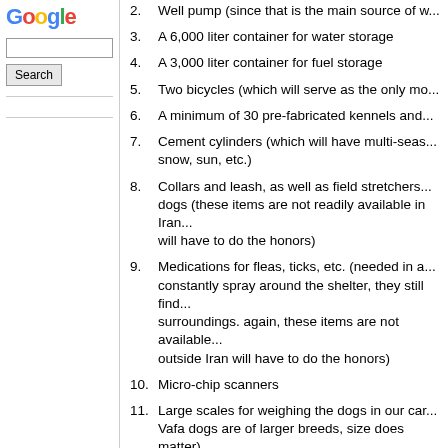[Figure (logo): Google logo in multicolor text]
2. Well pump (since that is the main source of w...
3. A 6,000 liter container for water storage
4. A 3,000 liter container for fuel storage
5. Two bicycles (which will serve as the only mo...
6. A minimum of 30 pre-fabricated kennels and...
7. Cement cylinders (which will have multi-seas... snow, sun, etc.)
8. Collars and leash, as well as field stretchers... dogs (these items are not readily available in Iran... will have to do the honors)
9. Medications for fleas, ticks, etc. (needed in a... constantly spray around the shelter, they still find... surroundings. again, these items are not available... outside Iran will have to do the honors)
10. Micro-chip scanners
11. Large scales for weighing the dogs in our car... Vafa dogs are of larger breeds, size does matter)
12. Toys, cleaning supplies, gloves, etc.
Please visit animal-care.com for purchasing the it... contact with kfrsyan@yahoo.com to make arran...